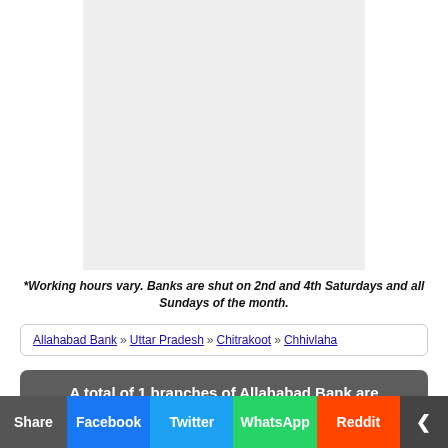[Figure (other): Gray advertisement placeholder box]
*Working hours vary. Banks are shut on 2nd and 4th Saturdays and all Sundays of the month.
Allahabad Bank » Uttar Pradesh » Chitrakoot » Chhivlaha
A total of 1 branches of Allahabad Bank are available with ifsc code
Share | Facebook | Twitter | WhatsApp | Reddit